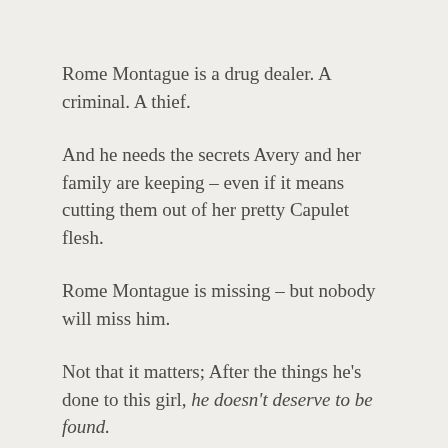Rome Montague is a drug dealer. A criminal. A thief.
And he needs the secrets Avery and her family are keeping – even if it means cutting them out of her pretty Capulet flesh.
Rome Montague is missing – but nobody will miss him.
Not that it matters; After the things he's done to this girl, he doesn't deserve to be found.
* * * * * * *